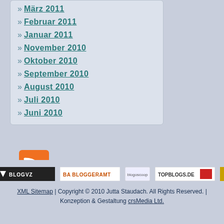März 2011
Februar 2011
Januar 2011
November 2010
Oktober 2010
September 2010
August 2010
Juli 2010
Juni 2010
[Figure (logo): RSS feed icon - orange square with RSS symbol]
[Figure (logo): BlogVZ badge - dark background with triangle and BLOGVZ text]
[Figure (logo): Bloggeramt badge - BA BLOGGERAMT text]
[Figure (logo): blogoscoop logo]
[Figure (logo): TOPBLOGS.DE badge with red block]
XML Sitemap | Copyright © 2010 Jutta Staudach. All Rights Reserved. | Konzeption & Gestaltung crsMedia Ltd.